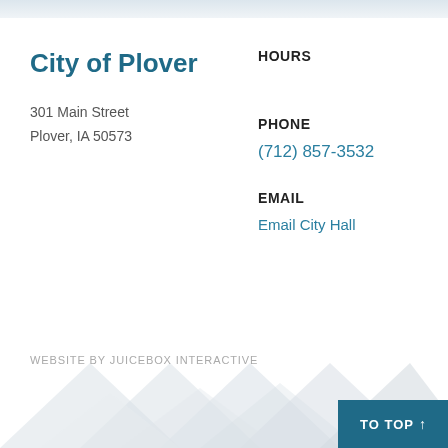City of Plover
301 Main Street
Plover, IA 50573
HOURS
PHONE
(712) 857-3532
EMAIL
Email City Hall
WEBSITE BY JUICEBOX INTERACTIVE
TO TOP ↑